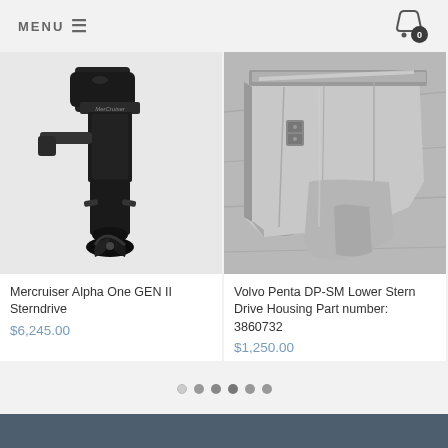MENU ☰
[Figure (photo): Black Mercruiser Alpha One GEN II Sterndrive outboard motor with propeller, shown from side angle against white background]
[Figure (photo): Volvo Penta DP-SM lower stern drive housing, grey metallic part, shown from side/bottom angle on a concrete surface]
Mercruiser Alpha One GEN II Sterndrive
$6,245.00
Volvo Penta DP-SM Lower Stern Drive Housing Part number: 3860732
$1,250.00